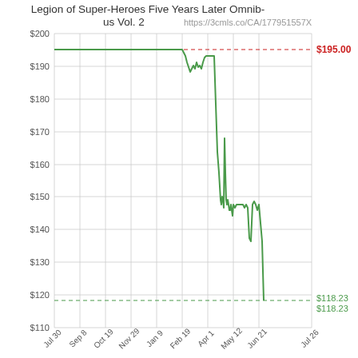[Figure (continuous-plot): Price history line chart showing price declining from ~$195 to ~$118.23 over time period Jul 30 to Jul 26 (next year). A horizontal dashed red line marks $195.00 (original/high price) and a horizontal dashed green line marks $118.23 (current/low price). The green price line stays flat near $195 from Jul 30 through mid-Feb, then dips around Apr 1, recovers slightly to ~$193, then drops sharply around Jun 21 through multiple steps down to $118.23 by Jul 26.]